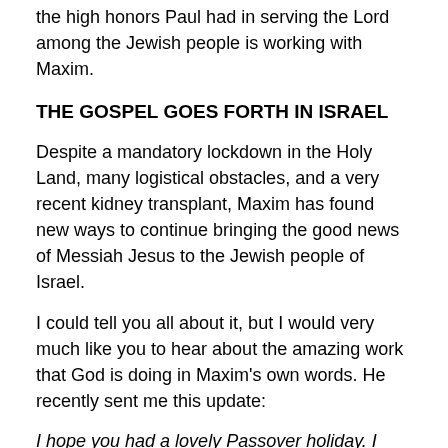the high honors Paul had in serving the Lord among the Jewish people is working with Maxim.
THE GOSPEL GOES FORTH IN ISRAEL
Despite a mandatory lockdown in the Holy Land, many logistical obstacles, and a very recent kidney transplant, Maxim has found new ways to continue bringing the good news of Messiah Jesus to the Jewish people of Israel.
I could tell you all about it, but I would very much like you to hear about the amazing work that God is doing in Maxim's own words. He recently sent me this update:
I hope you had a lovely Passover holiday. I also hope you are staying healthy and well during this difficult time. With God's help, we will get through the crisis. We pray for your situation in America...